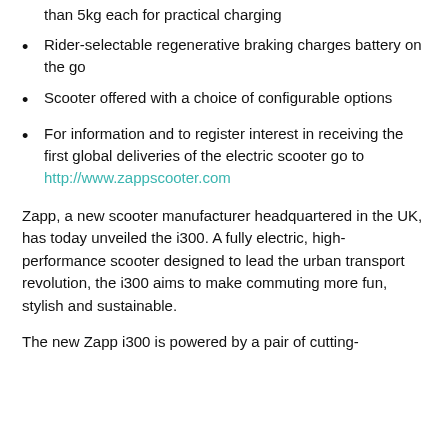than 5kg each for practical charging
Rider-selectable regenerative braking charges battery on the go
Scooter offered with a choice of configurable options
For information and to register interest in receiving the first global deliveries of the electric scooter go to http://www.zappscooter.com
Zapp, a new scooter manufacturer headquartered in the UK, has today unveiled the i300. A fully electric, high-performance scooter designed to lead the urban transport revolution, the i300 aims to make commuting more fun, stylish and sustainable.
The new Zapp i300 is powered by a pair of cutting-